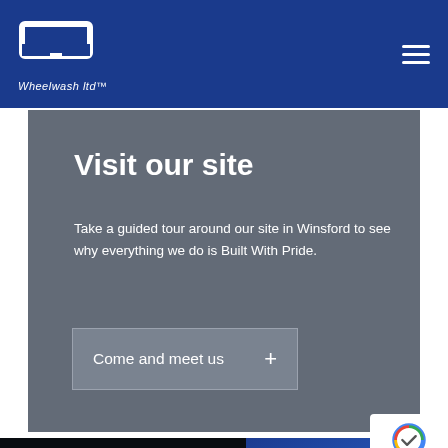Wheelwash ltd
Visit our site
Take a guided tour around our site in Winsford to see why everything we do is Built With Pride.
Come and meet us +
ADDITIONAL LINKS
Privacy Policy
join wheelwash the rwm e... accelerate the transition to a
[Figure (logo): reCAPTCHA badge with Privacy - Terms text]